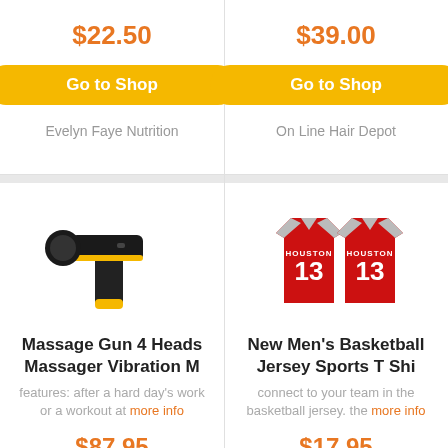$22.50
Go to Shop
Evelyn Faye Nutrition
$39.00
Go to Shop
On Line Hair Depot
[Figure (photo): Black and yellow massage gun with round head attachment]
Massage Gun 4 Heads Massager Vibration M
features: after a hard day's work or a workout at more info
$87.95
[Figure (photo): Two red Houston Rockets #13 basketball jerseys, front and back views]
New Men's Basketball Jersey Sports T Shi
connect to your team in the basketball jersey. the more info
$17.95